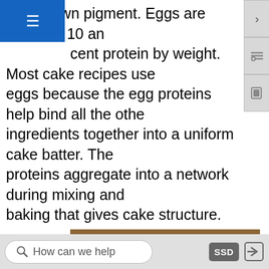es a brown pigment. Eggs are between 10 and [x] cent protein by weight. Most cake recipes use eggs because the egg proteins help bind all the other ingredients together into a uniform cake batter. The proteins aggregate into a network during mixing and baking that gives cake structure.
[Figure (photo): A round white frosted layer cake with decorative rosettes around the top edge, with one slice removed to show three golden sponge cake layers with cream filling between them, sitting on a white plate on a wooden table.]
How can we help